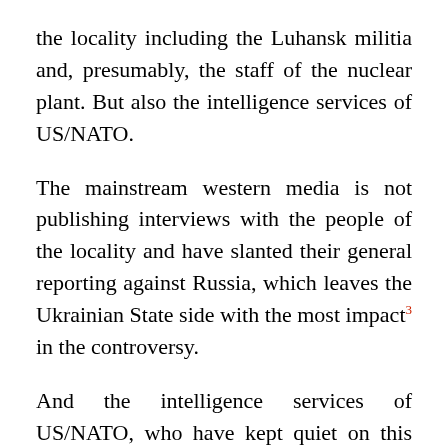the locality including the Luhansk militia and, presumably, the staff of the nuclear plant. But also the intelligence services of US/NATO.
The mainstream western media is not publishing interviews with the people of the locality and have slanted their general reporting against Russia, which leaves the Ukrainian State side with the most impact³ in the controversy.
And the intelligence services of US/NATO, who have kept quiet on this issue.
Another accusation which the Ukrainian authorities have made against the Russian side is that they have